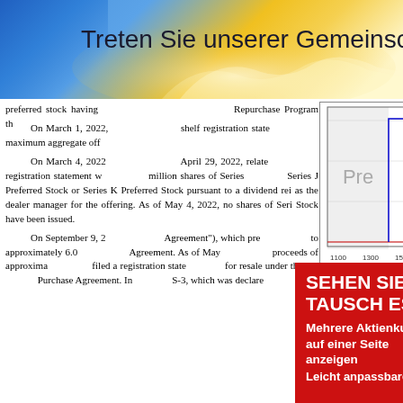[Figure (infographic): Top banner with blue and yellow/gold gradient background and German text 'Treten Sie unserer Gemeinschaft bei']
preferred stock having ... Repurchase Program th...
On March 1, 2022, shelf registration statemen... maximum aggregate off...
[Figure (continuous-plot): Stock price chart showing price range approximately 18.15 to 18.3, with blue step line and red dot marker, x-axis from 1100 to 2100, shaded pre-market region labeled 'Pre', copyright (c) www.advfn.com]
On March 4, 2022... April 29, 2022, related... registration statement w... million shares of Series... Series J Preferred Stock or Series K Preferred Stock pursuant to a dividend rei... as the dealer manager for the offering. As of May 4, 2022, no shares of Seri... Stock have been issued.
On September 9, 2... Agreement"), which pre... to approximately 6.0 ... Agreement. As of May... proceeds of approxima... filed a registration state... for resale under the Se... Purchase Agreement. In... S-3, which was declare...
[Figure (infographic): Red advertisement banner with German text: 'SEHEN SIE ES. TAUSCH ES!' and subtitle 'Mehrere Aktienkurse auf einer Seite anzeigen' and 'Leicht anpassbare']